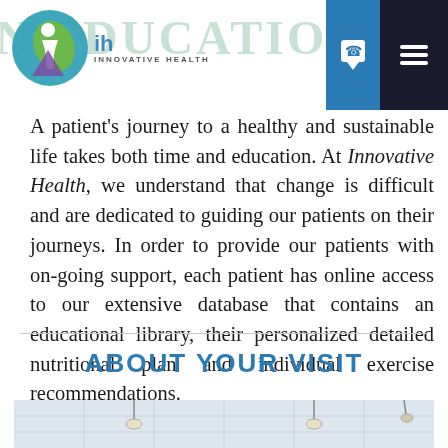N EDUCATION AN — Innovative Health logo with phone and menu icons
A patient's journey to a healthy and sustainable life takes both time and education. At Innovative Health, we understand that change is difficult and are dedicated to guiding our patients on their journeys. In order to provide our patients with on-going support, each patient has online access to our extensive database that contains an educational library, their personalized detailed nutritional plan and individual exercise recommendations.
ABOUT YOUR VISIT
[Figure (photo): Interior photo of a medical office or clinic showing ceiling tiles and pendant lights]